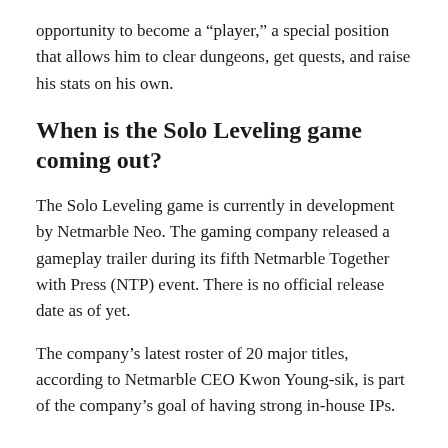opportunity to become a “player,” a special position that allows him to clear dungeons, get quests, and raise his stats on his own.
When is the Solo Leveling game coming out?
The Solo Leveling game is currently in development by Netmarble Neo. The gaming company released a gameplay trailer during its fifth Netmarble Together with Press (NTP) event. There is no official release date as of yet.
The company’s latest roster of 20 major titles, according to Netmarble CEO Kwon Young-sik, is part of the company’s goal of having strong in-house IPs.